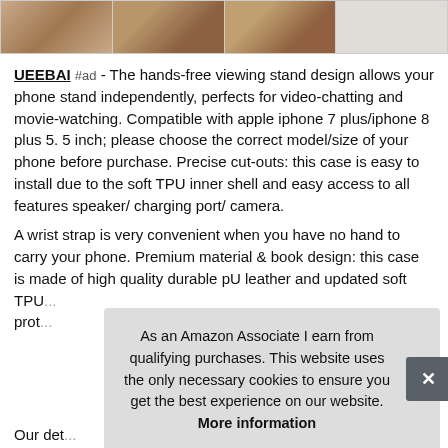[Figure (photo): Four product thumbnail images shown in a horizontal strip at the top of the page showing phone cases in brown/leather tones and a bird illustration]
UEEBAI #ad - The hands-free viewing stand design allows your phone stand independently, perfects for video-chatting and movie-watching. Compatible with apple iphone 7 plus/iphone 8 plus 5. 5 inch; please choose the correct model/size of your phone before purchase. Precise cut-outs: this case is easy to install due to the soft TPU inner shell and easy access to all features speaker/ charging port/ camera.
A wrist strap is very convenient when you have no hand to carry your phone. Premium material & book design: this case is made of high quality durable pU leather and updated soft TPU... prot...
As an Amazon Associate I earn from qualifying purchases. This website uses the only necessary cookies to ensure you get the best experience on our website. More information
Our det...